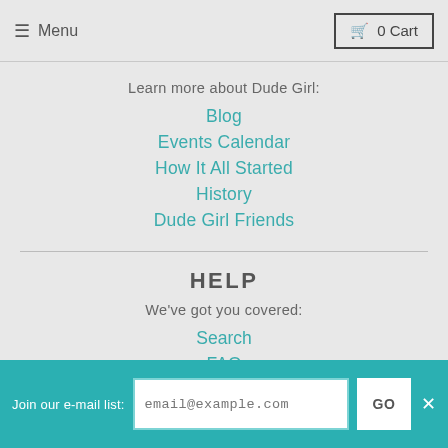Menu | 0 Cart
Learn more about Dude Girl:
Blog
Events Calendar
How It All Started
History
Dude Girl Friends
HELP
We've got you covered:
Search
FAQ
Privacy Policy & Terms of Service
Join our e-mail list: email@example.com GO ✕